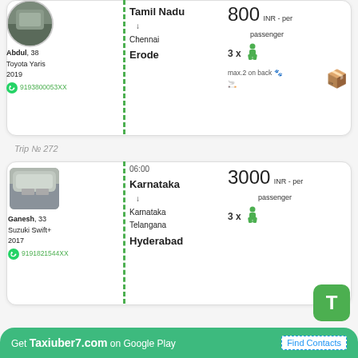[Figure (photo): Driver photo (circular) for Abdul - car visible in background]
Abdul, 38
Toyota Yaris
2019
9193800053XX
Tamil Nadu ↓ Chennai
Erode
800 INR - per passenger
3 x [seat icon]
max.2 on back
Trip № 272
[Figure (photo): Driver photo (rectangular) for Ganesh - silver car front view]
06:00
Karnataka ↓ Karnataka Telangana
Hyderabad
Ganesh, 33
Suzuki Swift+
2017
9191821544XX
3000 INR - per passenger
3 x [seat icon]
Get Taxiuber7.com on Google Play   Find Contacts